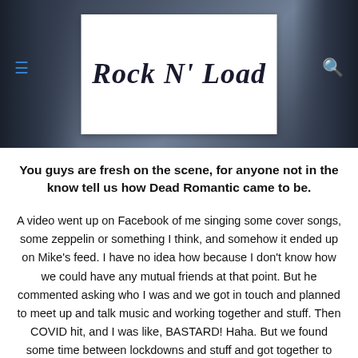[Figure (photo): Header photo of a band/group of people in dark clothing, with the Rock N' Load logo overlaid in a white box in the center. Hamburger menu icon on the left and search icon on the right.]
You guys are fresh on the scene, for anyone not in the know tell us how Dead Romantic came to be.
A video went up on Facebook of me singing some cover songs, some zeppelin or something I think, and somehow it ended up on Mike's feed. I have no idea how because I don't know how we could have any mutual friends at that point. But he commented asking who I was and we got in touch and planned to meet up and talk music and working together and stuff. Then COVID hit, and I was like, BASTARD! Haha. But we found some time between lockdowns and stuff and got together to start writing. We stumbled across a sound that really spoke to us and